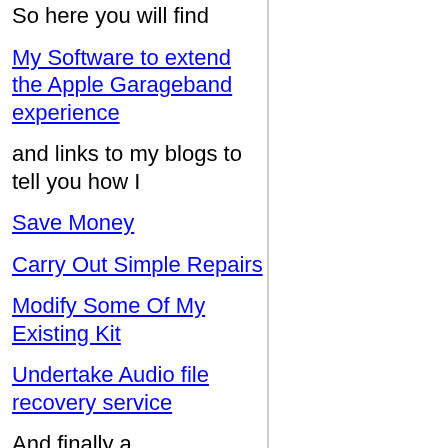So here you will find
My Software to extend the Apple Garageband experience
and links to my blogs to tell you how I
Save Money
Carry Out Simple Repairs
Modify Some Of My Existing Kit
Undertake Audio file recovery service
And finally a
collection of my music you can listen to or purchase
if you like what you hear